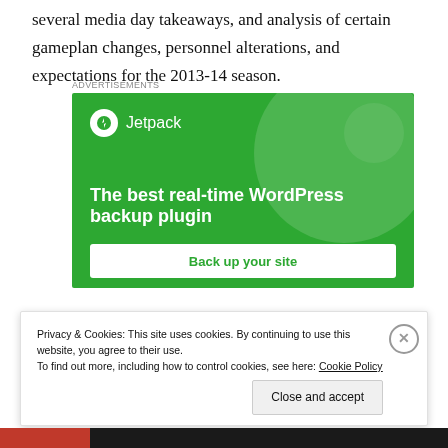several media day takeaways, and analysis of certain gameplan changes, personnel alterations, and expectations for the 2013-14 season.
[Figure (other): Jetpack advertisement banner with green background showing 'The best real-time WordPress backup plugin' and a 'Back up your site' button]
Privacy & Cookies: This site uses cookies. By continuing to use this website, you agree to their use.
To find out more, including how to control cookies, see here: Cookie Policy
Close and accept